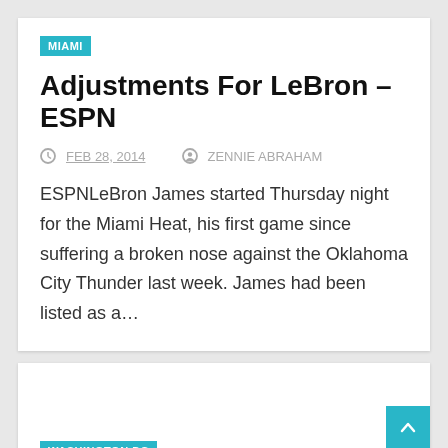MIAMI
Adjustments For LeBron – ESPN
FEB 28, 2014   ZENNIE ABRAHAM
ESPNLeBron James started Thursday night for the Miami Heat, his first game since suffering a broken nose against the Oklahoma City Thunder last week. James had been listed as a...
WASHINGTON DC
TSA agent nearly rejects Washington D.C. black athlete...